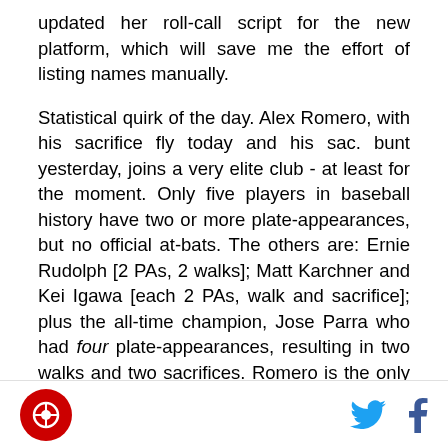updated her roll-call script for the new platform, which will save me the effort of listing names manually.
Statistical quirk of the day. Alex Romero, with his sacrifice fly today and his sac. bunt yesterday, joins a very elite club - at least for the moment. Only five players in baseball history have two or more plate-appearances, but no official at-bats. The others are: Ernie Rudolph [2 PAs, 2 walks]; Matt Karchner and Kei Igawa [each 2 PAs, walk and sacrifice]; plus the all-time champion, Jose Parra who had four plate-appearances, resulting in two walks and two sacrifices. Romero is the only non-pitcher in the bunch, though one suspects his membership will turn out to be
[logo] [twitter] [facebook]